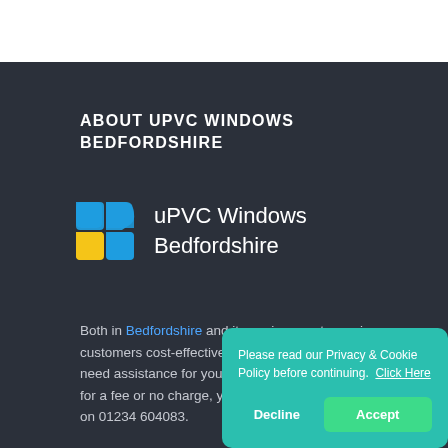ABOUT UPVC WINDOWS BEDFORDSHIRE
[Figure (logo): uPVC Windows Bedfordshire logo with blue and yellow window pane icon and white text]
Both in Bedfordshire and its environment, we give our customers cost-effective and prompt delivery. If you need assistance for your window installation, whether for a fee or no charge, you can contact uPVC Windows Bedfordshire in uPVC Windows Bedfordshire on 01234 604083.
Please read our Privacy & Cookie Policy before continuing.  Click Here
Decline
Accept